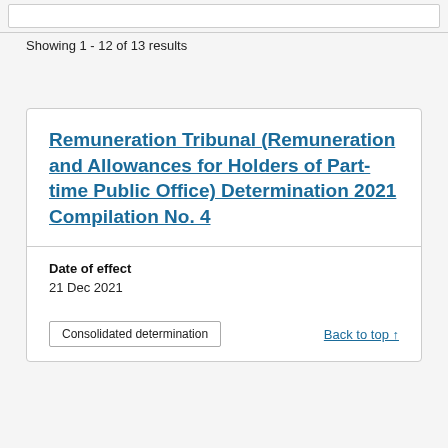Showing 1 - 12 of 13 results
Remuneration Tribunal (Remuneration and Allowances for Holders of Part-time Public Office) Determination 2021 Compilation No. 4
Date of effect
21 Dec 2021
Consolidated determination
Back to top ↑